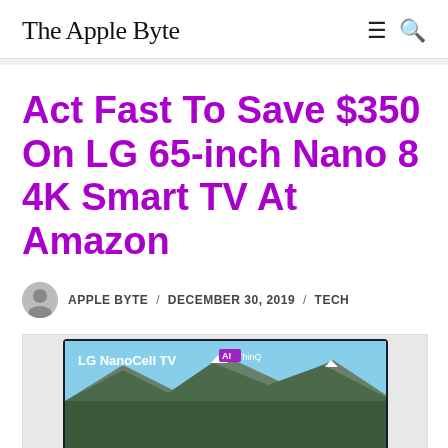The Apple Byte
Act Fast To Save $350 On LG 65-inch Nano 8 4K Smart TV At Amazon
APPLE BYTE / DECEMBER 30, 2019 / TECH
[Figure (photo): LG NanoCell TV AI ThinQ product image showing the TV screen with a mountain landscape wallpaper]